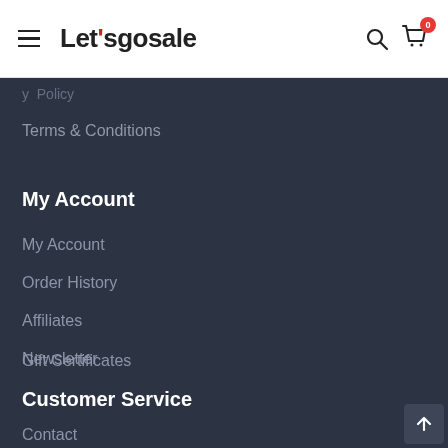Let'sgosale
Terms & Conditions
My Account
My Account
Order History
Affiliates
Newsletter
Gift Certificates
Customer Service
Contact